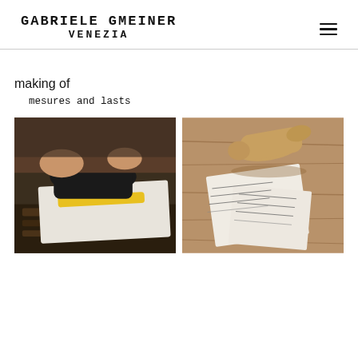GABRIELE GMEINER VENEZIA
making of
mesures and lasts
[Figure (photo): Hands measuring a foot in a black sock with a yellow measuring tape on a patterned rug.]
[Figure (photo): A wooden shoe last resting on paper measurement sheets on a wooden table.]